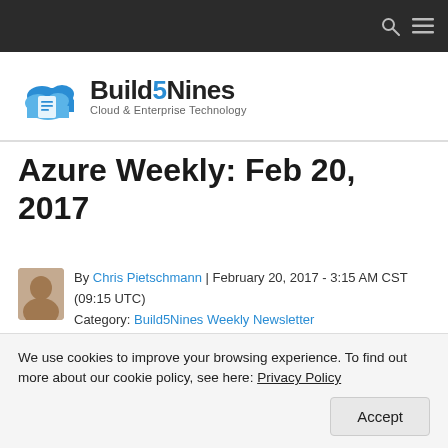Build5Nines — Cloud & Enterprise Technology
Azure Weekly: Feb 20, 2017
By Chris Pietschmann | February 20, 2017 - 3:15 AM CST (09:15 UTC) Category: Build5Nines Weekly Newsletter
[Figure (illustration): Azure Weekly banner image with blue background and cloud graphics]
We use cookies to improve your browsing experience. To find out more about our cookie policy, see here: Privacy Policy
Accept